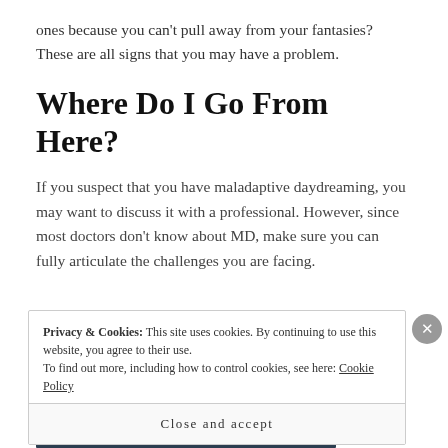ones because you can't pull away from your fantasies? These are all signs that you may have a problem.
Where Do I Go From Here?
If you suspect that you have maladaptive daydreaming, you may want to discuss it with a professional. However, since most doctors don't know about MD, make sure you can fully articulate the challenges you are facing.
Privacy & Cookies: This site uses cookies. By continuing to use this website, you agree to their use. To find out more, including how to control cookies, see here: Cookie Policy
Close and accept